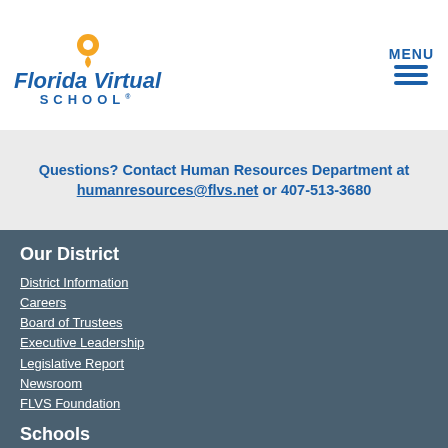[Figure (logo): Florida Virtual School logo with orange pin icon and blue text]
MENU
Questions? Contact Human Resources Department at humanresources@flvs.net or 407-513-3680
Our District
District Information
Careers
Board of Trustees
Executive Leadership
Legislative Report
Newsroom
FLVS Foundation
Schools
Flex